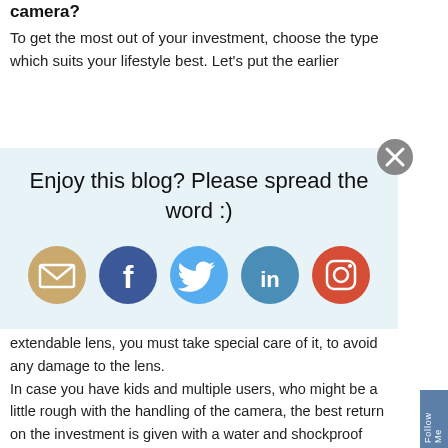camera?
To get the most out of your investment, choose the type which suits your lifestyle best. Let's put the earlier
Enjoy this blog? Please spread the word :)
[Figure (infographic): Social share icons: email (tan/gold circle), Facebook (dark blue circle), Twitter (light blue circle), LinkedIn (teal/blue circle), Instagram (red/orange circle)]
If you have a personal preference for a camera with an extendable lens, you must take special care of it, to avoid any damage to the lens.
In case you have kids and multiple users, who might be a little rough with the handling of the camera, the best return on the investment is given with a water and shockproof camera. Personally I use a camera with an inbuilt lens, which hasn't given me any problems